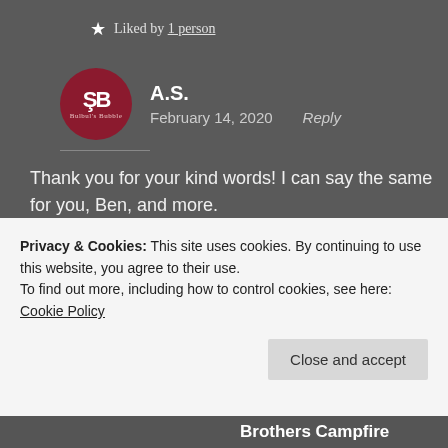★ Liked by 1 person
A.S.
February 14, 2020    Reply
Thank you for your kind words! I can say the same for you, Ben, and more. 😊🤗
Privacy & Cookies: This site uses cookies. By continuing to use this website, you agree to their use.
To find out more, including how to control cookies, see here: Cookie Policy
Close and accept
Brothers Campfire